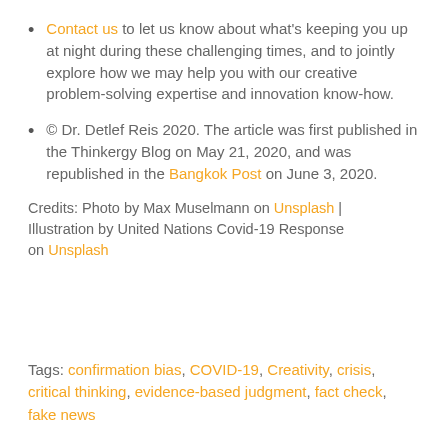Contact us to let us know about what's keeping you up at night during these challenging times, and to jointly explore how we may help you with our creative problem-solving expertise and innovation know-how.
© Dr. Detlef Reis 2020. The article was first published in the Thinkergy Blog on May 21, 2020, and was republished in the Bangkok Post on June 3, 2020.
Credits: Photo by Max Muselmann on Unsplash | Illustration by United Nations Covid-19 Response on Unsplash
Tags: confirmation bias, COVID-19, Creativity, crisis, critical thinking, evidence-based judgment, fact check, fake news